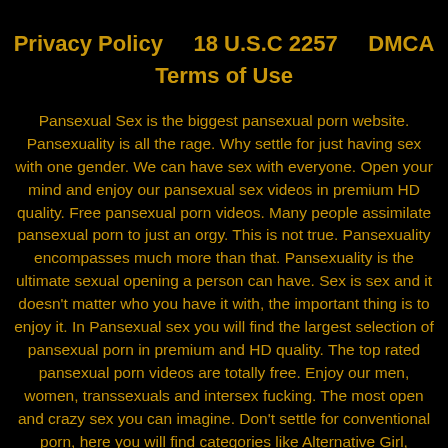Privacy Policy    18 U.S.C 2257    DMCA    Terms of Use
Pansexual Sex is the biggest pansexual porn website. Pansexuality is all the rage. Why settle for just having sex with one gender. We can have sex with everyone. Open your mind and enjoy our pansexual sex videos in premium HD quality. Free pansexual porn videos. Many people assimilate pansexual porn to just an orgy. This is not true. Pansexuality encompasses much more than that. Pansexuality is the ultimate sexual opening a person can have. Sex is sex and it doesn't matter who you have it with, the important thing is to enjoy it. In Pansexual sex you will find the largest selection of pansexual porn in premium and HD quality. The top rated pansexual porn videos are totally free. Enjoy our men, women, transsexuals and intersex fucking. The most open and crazy sex you can imagine. Don't settle for conventional porn, here you will find categories like Alternative Girl, Asexual, Bi Curious, Bisexual, Crossdressing, Gay, Heteroflexible, Intersex, Lesbian, Non Binary, Pansex, Polyamory, Queer, Shemale or